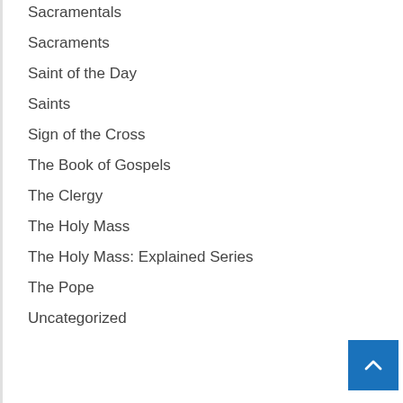Sacramentals
Sacraments
Saint of the Day
Saints
Sign of the Cross
The Book of Gospels
The Clergy
The Holy Mass
The Holy Mass: Explained Series
The Pope
Uncategorized